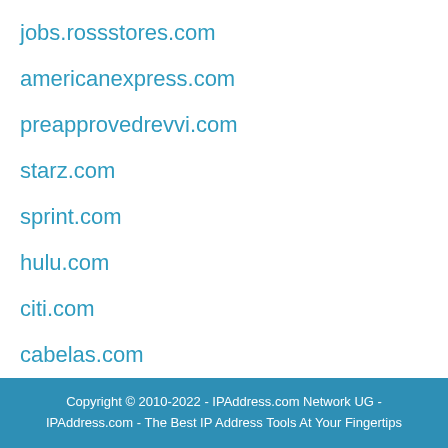jobs.rossstores.com
americanexpress.com
preapprovedrevvi.com
starz.com
sprint.com
hulu.com
citi.com
cabelas.com
Copyright © 2010-2022 - IPAddress.com Network UG - IPAddress.com - The Best IP Address Tools At Your Fingertips
Featured Sites | Latest Websites | Keyword Analyses | Sitemap | Privacy Policy | Legal Notice | Terms of Service | IP Location Database Download | IP Location API